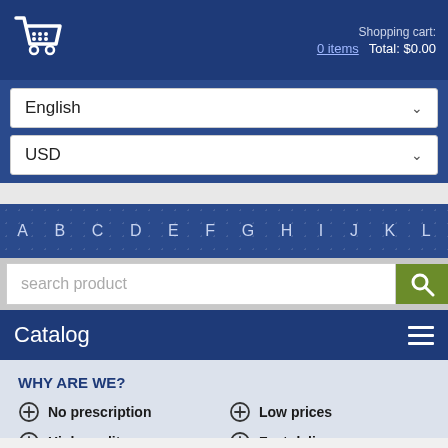Shopping cart: 0 items  Total: $0.00
English
USD
A B C D E F G H I J K
search product
Catalog
WHY ARE WE?
No prescription
Low prices
High quality
Fast delivery
MOBIC